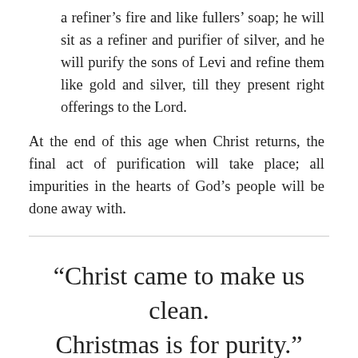a refiner's fire and like fullers' soap; he will sit as a refiner and purifier of silver, and he will purify the sons of Levi and refine them like gold and silver, till they present right offerings to the Lord.
At the end of this age when Christ returns, the final act of purification will take place; all impurities in the hearts of God's people will be done away with.
“Christ came to make us clean. Christmas is for purity.”